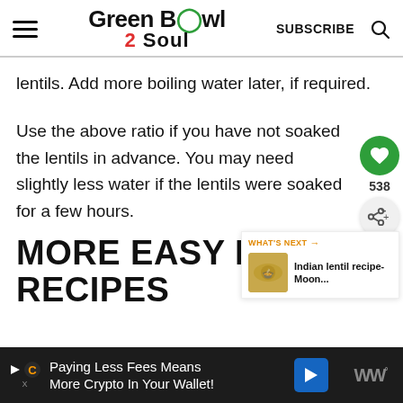Green Bowl 2 Soul — SUBSCRIBE
lentils. Add more boiling water later, if required.
Use the above ratio if you have not soaked the lentils in advance. You may need slightly less water if the lentils were soaked for a few hours.
MORE EASY LENTIL RECIPES
[Figure (other): What's Next panel: Indian lentil recipe-Moon...]
Paying Less Fees Means More Crypto In Your Wallet! [Ad banner]